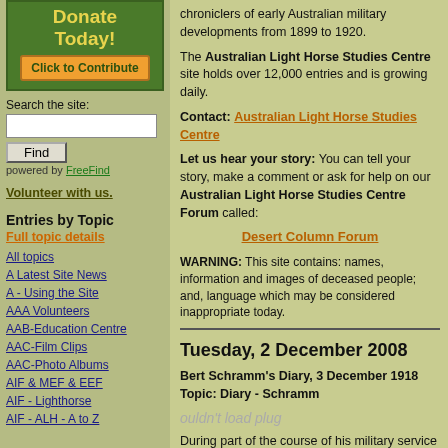[Figure (other): Donate Today! Click to Contribute green box with orange button]
Search the site:
Find
powered by FreeFind
Volunteer with us.
Entries by Topic
Full topic details
All topics
A Latest Site News
A - Using the Site
AAA Volunteers
AAB-Education Centre
AAC-Film Clips
AAC-Photo Albums
AIF & MEF & EEF
AIF - Lighthorse
AIF - ALH - A to Z
chroniclers of early Australian military developments from 1899 to 1920.
The Australian Light Horse Studies Centre site holds over 12,000 entries and is growing daily.
Contact: Australian Light Horse Studies Centre
Let us hear your story: You can tell your story, make a comment or ask for help on our Australian Light Horse Studies Centre Forum called:
Desert Column Forum
WARNING: This site contains: names, information and images of deceased people; and, language which may be considered inappropriate today.
Tuesday, 2 December 2008
Bert Schramm's Diary, 3 December 1918
Topic: Diary - Schramm
ouldn't load plug
During part of the course of his military service